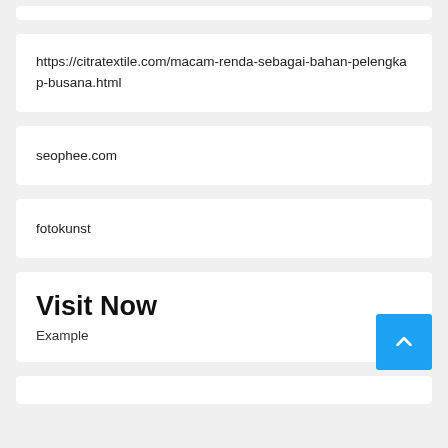https://citratextile.com/macam-renda-sebagai-bahan-pelengkap-busana.html
seophee.com
fotokunst
Visit Now
Example